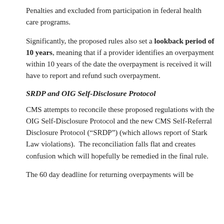Penalties and excluded from participation in federal health care programs.
Significantly, the proposed rules also set a lookback period of 10 years, meaning that if a provider identifies an overpayment within 10 years of the date the overpayment is received it will have to report and refund such overpayment.
SRDP and OIG Self-Disclosure Protocol
CMS attempts to reconcile these proposed regulations with the OIG Self-Disclosure Protocol and the new CMS Self-Referral Disclosure Protocol (“SRDP”) (which allows report of Stark Law violations).  The reconciliation falls flat and creates confusion which will hopefully be remedied in the final rule.
The 60 day deadline for returning overpayments will be